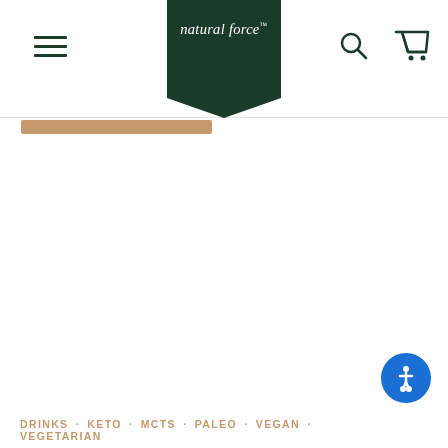natural force™ — site navigation header with hamburger menu, logo, search and cart icons
[Figure (other): Horizontal progress/loading bar in tan/brown color]
[Figure (other): Accessibility button (wheelchair icon) in blue circle, bottom right]
DRINKS · KETO · MCTS · PALEO · VEGAN · VEGETARIAN